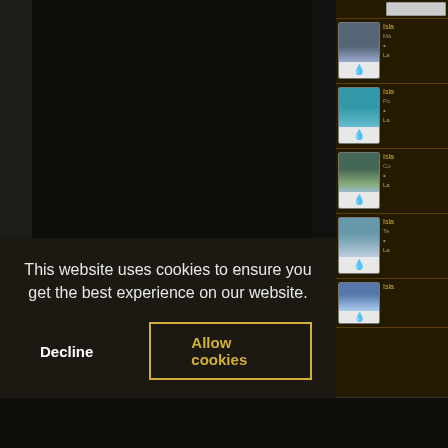[Figure (screenshot): Dark-themed Magic: The Gathering card browsing website with card thumbnails in right sidebar showing Island cards with blue water drop mana symbol]
This website uses cookies to ensure you get the best experience on our website.
Decline
Allow cookies